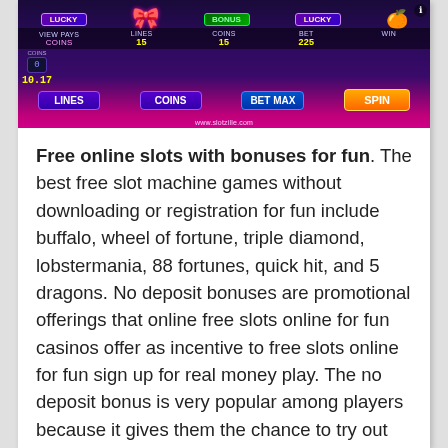[Figure (screenshot): Screenshot of an online slot machine game UI showing colorful slot symbols (LUCKY, bonus, etc.), game controls including LINES, COINS, BET MAX, and SPIN buttons, and the website www.slotzille.com at the bottom.]
Free online slots with bonuses for fun. The best free slot machine games without downloading or registration for fun include buffalo, wheel of fortune, triple diamond, lobstermania, 88 fortunes, quick hit, and 5 dragons. No deposit bonuses are promotional offerings that online free slots online for fun casinos offer as incentive to free slots online for fun sign up for real money play. The no deposit bonus is very popular among players because it gives them the chance to try out their favorite casino games for real money without spending from.
Free 5 reel slot machine games. There are always hundreds of slots and many other games available and you don't even need to